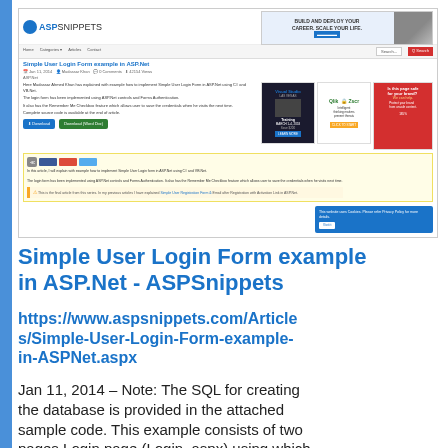[Figure (screenshot): Screenshot of the ASPSnippets website showing a 'Simple User Login Form example in ASP.Net' article page with navigation, ads, share buttons, and a cookie consent panel.]
Simple User Login Form example in ASP.Net - ASPSnippets
https://www.aspsnippets.com/Articles/Simple-User-Login-Form-example-in-ASPNet.aspx
Jan 11, 2014 – Note: The SQL for creating the database is provided in the attached sample code. This example consists of two pages Login page (Login. aspx) using which